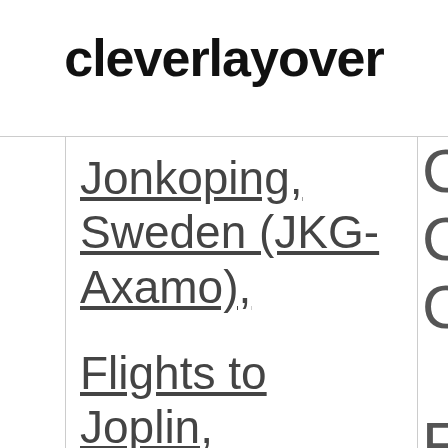cleverlayover
Jonkoping, Sweden (JKG-Axamo),
Flights to Joplin, MO (JLN-Joplin